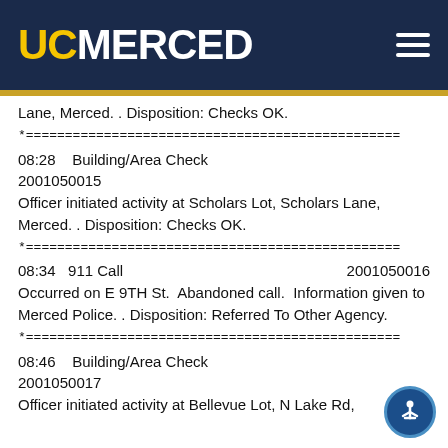UC MERCED
Lane, Merced. . Disposition: Checks OK.
*=============================================
08:28    Building/Area Check
2001050015
Officer initiated activity at Scholars Lot, Scholars Lane, Merced. . Disposition: Checks OK.
*=============================================
08:34    911 Call    2001050016
Occurred on E 9TH St.  Abandoned call.  Information given to Merced Police. . Disposition: Referred To Other Agency.
*=============================================
08:46    Building/Area Check
2001050017
Officer initiated activity at Bellevue Lot, N Lake Rd,